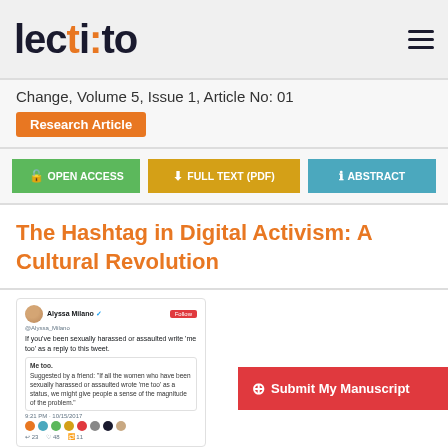[Figure (logo): Lectito journal logo with orange colon dot]
Change, Volume 5, Issue 1, Article No: 01
Research Article
OPEN ACCESS
FULL TEXT (PDF)
ABSTRACT
The Hashtag in Digital Activism: A Cultural Revolution
[Figure (screenshot): Screenshot of Alyssa Milano tweet initiating the #MeToo movement, showing tweet text asking people to reply 'me too' if they've been sexually harassed or assaulted]
Submit My Manuscript